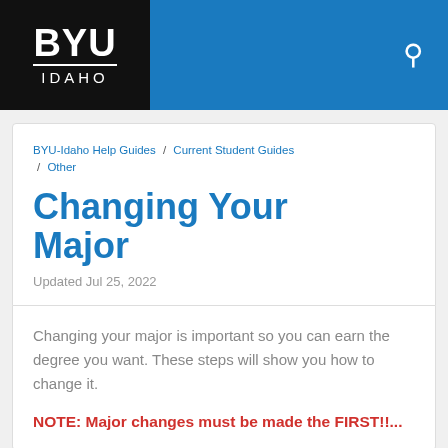[Figure (logo): BYU Idaho logo on black background with blue header bar and search icon]
BYU-Idaho Help Guides / Current Student Guides / Other
Changing Your Major
Updated Jul 25, 2022
Changing your major is important so you can earn the degree you want. These steps will show you how to change it.
NOTE: Major changes must be made the FIRST!...